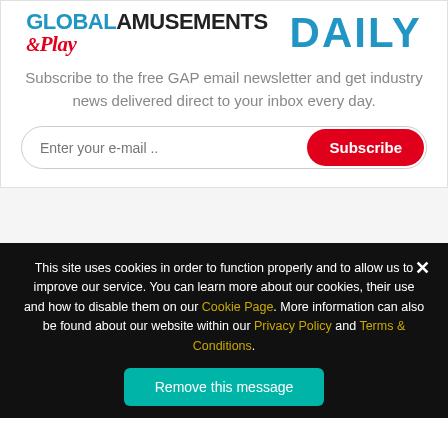[Figure (logo): Global Amusements & Play Daily logo — two-part logo: left shows 'GLOBAL AMUSEMENTS & Play' with blue/black/red coloring, right shows 'DAILY' in large blue bold uppercase text]
Subscribe to the free GAP email newsletter and get industry news delivered direct to your inbox every day.
Enter your e-mail .. [Subscribe button]
This site uses cookies in order to function properly and to allow us to improve our service. You can learn more about our cookies, their use and how to disable them on our Cookie Page. More information can also be found about our website within our Privacy Policy and Terms & Conditions.
Remove this message